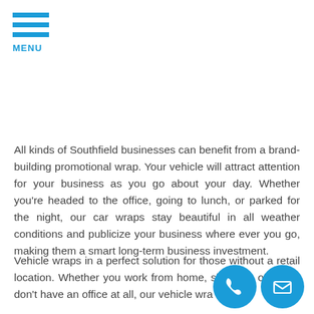[Figure (logo): Hamburger menu icon with three blue horizontal bars and MENU label in blue]
All kinds of Southfield businesses can benefit from a brand-building promotional wrap. Your vehicle will attract attention for your business as you go about your day. Whether you're headed to the office, going to lunch, or parked for the night, our car wraps stay beautiful in all weather conditions and publicize your business where ever you go, making them a smart long-term business investment.
Vehicle wraps in a perfect solution for those without a retail location. Whether you work from home, share an office, or don't have an office at all, our vehicle wraps sp... the ...building the brand recognition...